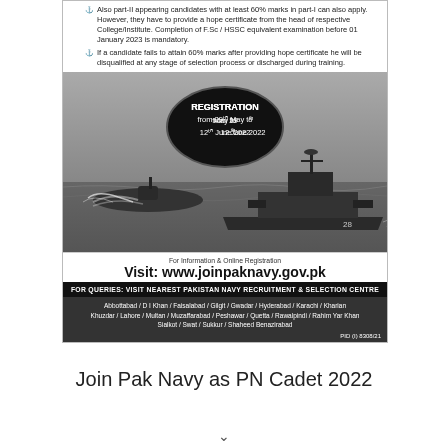Also part-II appearing candidates with at least 60% marks in part-I can also apply. However, they have to provide a hope certificate from the head of respective College/Institute. Completion of F.Sc / HSSC equivalent examination before 01 January 2023 is mandatory.
If a candidate fails to attain 60% marks after providing hope certificate he will be disqualified at any stage of selection process or discharged during training.
[Figure (photo): Navy advertisement image showing submarine and warship at sea, with oval text overlay reading 'REGISTRATION from 29th May to 12th June 2022']
For Information & Online Registration
Visit: www.joinpaknavy.gov.pk
FOR QUERIES: VISIT NEAREST PAKISTAN NAVY RECRUITMENT & SELECTION CENTRE
Abbottabad / D I Khan / Faisalabad / Gilgit / Gwadar / Hyderabad / Karachi / Kharian Khuzdar / Lahore / Multan / Muzaffarabad / Peshawar / Quetta / Rawalpindi / Rahim Yar Khan Sialkot / Swat / Sukkur / Shaheed Benazirabad
PID (I) 8308/21
Join Pak Navy as PN Cadet 2022